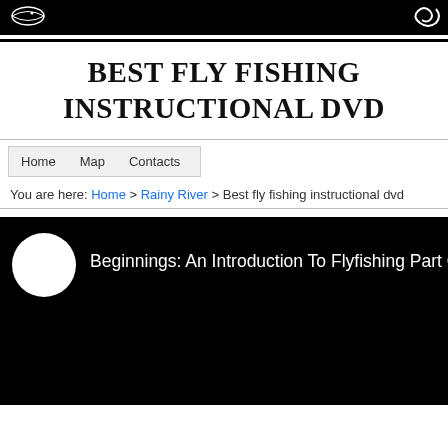[Figure (logo): Website header bar with logo icons on black background]
BEST FLY FISHING INSTRUCTIONAL DVD
You are here: Home > Rainy River > Best fly fishing instructional dvd
[Figure (screenshot): Video player with black background showing title: Beginnings: An Introduction To Flyfishing Part O... with white play circle button]